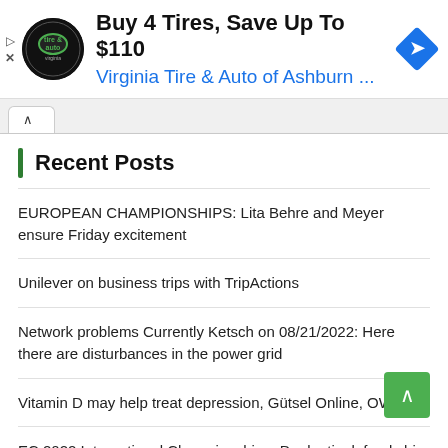[Figure (infographic): Advertisement banner: Virginia Tire & Auto of Ashburn logo (circular black badge), headline 'Buy 4 Tires, Save Up To $110', subtext 'Virginia Tire & Auto of Ashburn ...', navigation diamond icon, skip/play/close controls on left.]
Recent Posts
EUROPEAN CHAMPIONSHIPS: Lita Behre and Meyer ensure Friday excitement
Unilever on business trips with TripActions
Network problems Currently Ketsch on 08/21/2022: Here there are disturbances in the power grid
Vitamin D may help treat depression, Gütsel Online, OWL live
EC 2022 International Championship – Duplantis defends his title – Paul with third gold – Sports